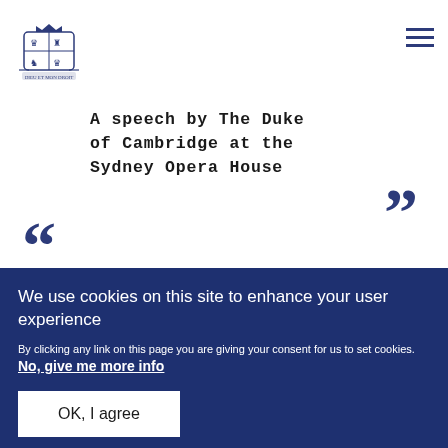[Figure (logo): Royal coat of arms / British Royal Family crest in dark navy blue]
A speech by The Duke of Cambridge at the Sydney Opera House
We use cookies on this site to enhance your user experience
By clicking any link on this page you are giving your consent for us to set cookies. No, give me more info
OK, I agree